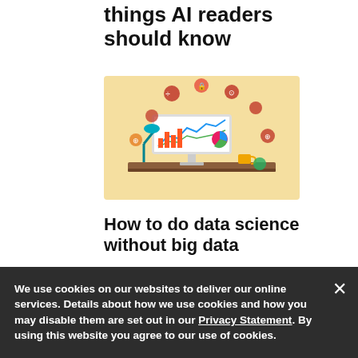things AI readers should know
[Figure (illustration): Illustration of a desktop computer monitor displaying charts and graphs, with a desk lamp, coffee cup, and floating data/technology icons on a warm yellow background]
How to do data science without big data
We use cookies on our websites to deliver our online services. Details about how we use cookies and how you may disable them are set out in our Privacy Statement. By using this website you agree to our use of cookies.